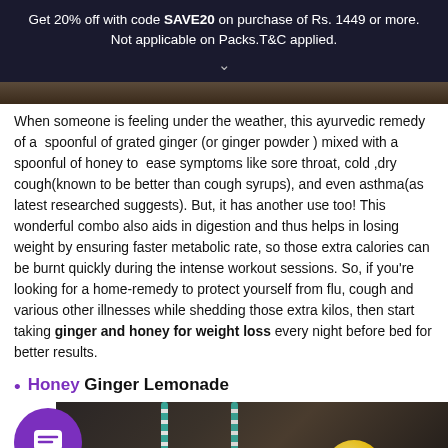Get 20% off with code SAVE20 on purchase of Rs. 1449 or more. Not applicable on Packs.T&C applied.
[Figure (photo): Partial view of a person, cropped at top of page]
When someone is feeling under the weather, this ayurvedic remedy of a spoonful of grated ginger (or ginger powder ) mixed with a spoonful of honey to ease symptoms like sore throat, cold ,dry cough(known to be better than cough syrups), and even asthma(as latest researched suggests). But, it has another use too! This wonderful combo also aids in digestion and thus helps in losing weight by ensuring faster metabolic rate, so those extra calories can be burnt quickly during the intense workout sessions. So, if you're looking for a home-remedy to protect yourself from flu, cough and various other illnesses while shedding those extra kilos, then start taking ginger and honey for weight loss every night before bed for better results.
Honey Ginger Lemonade
[Figure (photo): Photo of honey ginger lemonade drinks with lemon slices and striped straws in glasses on a dark background]